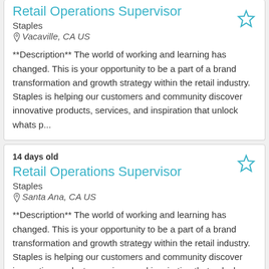Retail Operations Supervisor
Staples
Vacaville, CA US
**Description** The world of working and learning has changed. This is your opportunity to be a part of a brand transformation and growth strategy within the retail industry. Staples is helping our customers and community discover innovative products, services, and inspiration that unlock whats p...
14 days old
Retail Operations Supervisor
Staples
Santa Ana, CA US
**Description** The world of working and learning has changed. This is your opportunity to be a part of a brand transformation and growth strategy within the retail industry. Staples is helping our customers and community discover innovative products, services, and inspiration that unlock whats p...